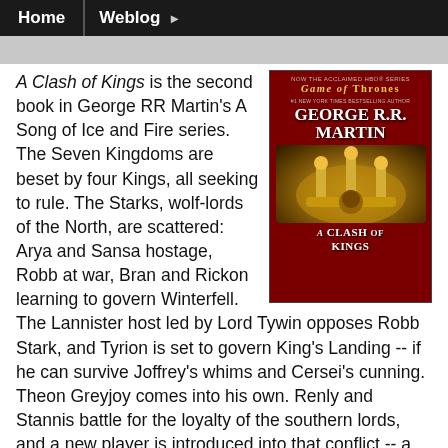Home | Weblog ▶
[Figure (photo): Book cover of A Clash of Kings by George R.R. Martin, part of the A Song of Ice and Fire series, with HBO Game of Thrones branding at top, golden crown imagery in the center, dark red background]
A Clash of Kings is the second book in George RR Martin's A Song of Ice and Fire series. The Seven Kingdoms are beset by four Kings, all seeking to rule. The Starks, wolf-lords of the North, are scattered: Arya and Sansa hostage, Robb at war, Bran and Rickon learning to govern Winterfell. The Lannister host led by Lord Tywin opposes Robb Stark, and Tyrion is set to govern King's Landing -- if he can survive Joffrey's whims and Cersei's cunning. Theon Greyjoy comes into his own. Renly and Stannis battle for the loyalty of the southern lords, and a new player is introduced into that conflict -- a player that bodes ill for the future. And through it all, the threat in the